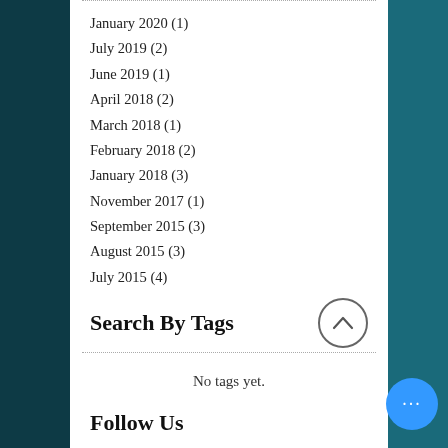January 2020 (1)
July 2019 (2)
June 2019 (1)
April 2018 (2)
March 2018 (1)
February 2018 (2)
January 2018 (3)
November 2017 (1)
September 2015 (3)
August 2015 (3)
July 2015 (4)
Search By Tags
No tags yet.
Follow Us